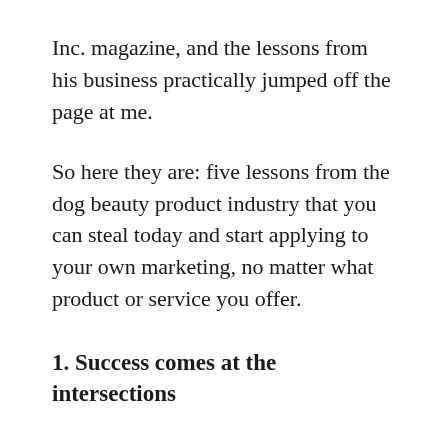Inc. magazine, and the lessons from his business practically jumped off the page at me.
So here they are: five lessons from the dog beauty product industry that you can steal today and start applying to your own marketing, no matter what product or service you offer.
1. Success comes at the intersections